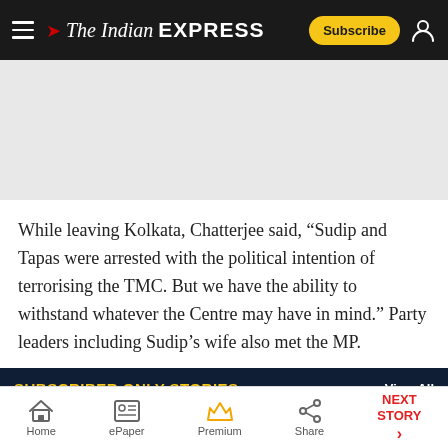The Indian EXPRESS
[Figure (other): Advertisement placeholder area, light gray background]
While leaving Kolkata, Chatterjee said, “Sudip and Tapas were arrested with the political intention of terrorising the TMC. But we have the ability to withstand whatever the Centre may have in mind.” Party leaders including Sudip’s wife also met the MP.
SUBSCRIBER ONLY STORIES
Home | ePaper | Premium | Share | NEXT STORY